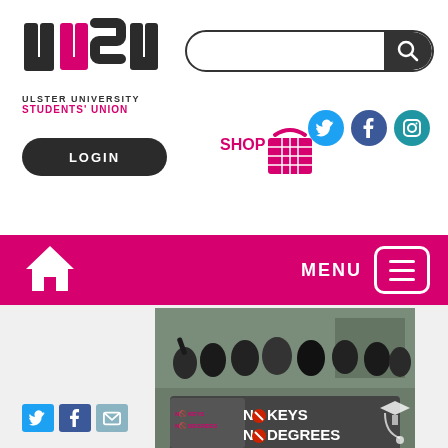[Figure (logo): UUSU Ulster University Students' Union logo with stylized UUSU letters and text]
[Figure (other): Search bar with dark search button on right]
[Figure (other): LOGIN button - dark pill-shaped button]
[Figure (other): SHOP text with shopping basket icon]
[Figure (other): Social media icons: Twitter, Facebook, Instagram]
[Figure (other): Pink navigation bar with home icon on left and MENU button on right]
[Figure (photo): Group photo of students holding a banner reading NO KEYS NO DEGREES]
[Figure (other): Social share buttons: Twitter, Facebook, Email]